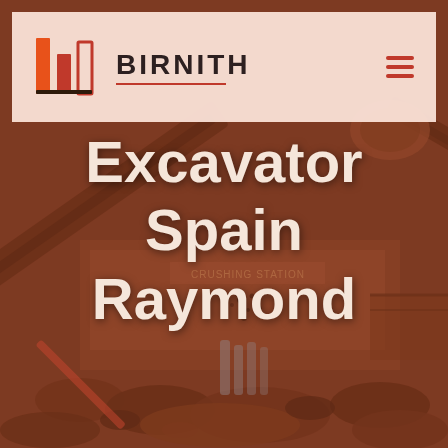[Figure (photo): Industrial crushing station machinery with conveyor belts, excavator equipment, and aggregate rocks in an outdoor setting, shown with a warm sepia/brown color overlay]
BIRNITH
Excavator Spain Raymond